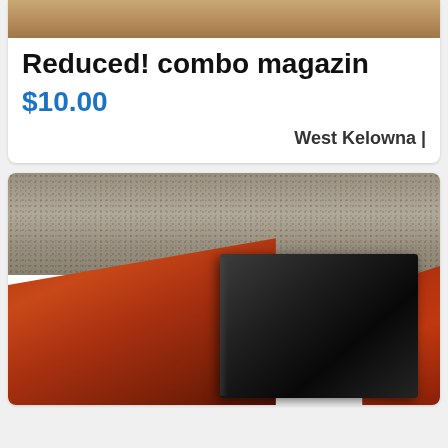[Figure (photo): Top portion of product listing photo showing a brown/tan surface, cropped at top of page]
Reduced! combo magazin
$10.00
West Kelowna |
[Figure (photo): Photo of leather-look items on a red-brown mahogany surface with a couch/fabric background. A black binder/wallet is visible in center. Red/mahogany colored flat items surround it.]